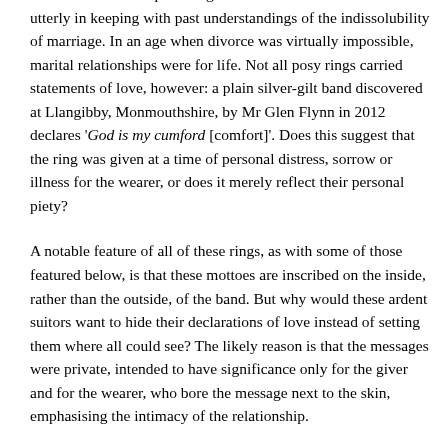somewhat out of step with lighter modern endearments but utterly in keeping with past understandings of the indissolubility of marriage. In an age when divorce was virtually impossible, marital relationships were for life. Not all posy rings carried statements of love, however: a plain silver-gilt band discovered at Llangibby, Monmouthshire, by Mr Glen Flynn in 2012 declares 'God is my cumford [comfort]'. Does this suggest that the ring was given at a time of personal distress, sorrow or illness for the wearer, or does it merely reflect their personal piety?
A notable feature of all of these rings, as with some of those featured below, is that these mottoes are inscribed on the inside, rather than the outside, of the band. But why would these ardent suitors want to hide their declarations of love instead of setting them where all could see? The likely reason is that the messages were private, intended to have significance only for the giver and for the wearer, who bore the message next to the skin, emphasising the intimacy of the relationship.